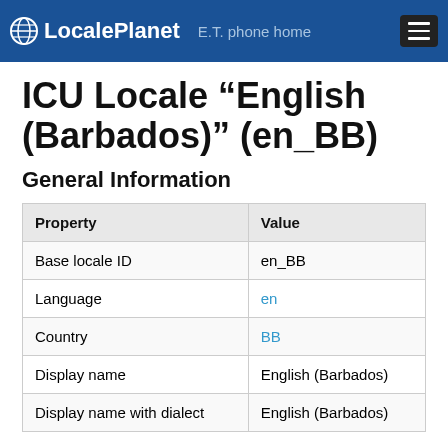LocalePlanet  E.T. phone home
ICU Locale “English (Barbados)” (en_BB)
General Information
| Property | Value |
| --- | --- |
| Base locale ID | en_BB |
| Language | en |
| Country | BB |
| Display name | English (Barbados) |
| Display name with dialect | English (Barbados) |